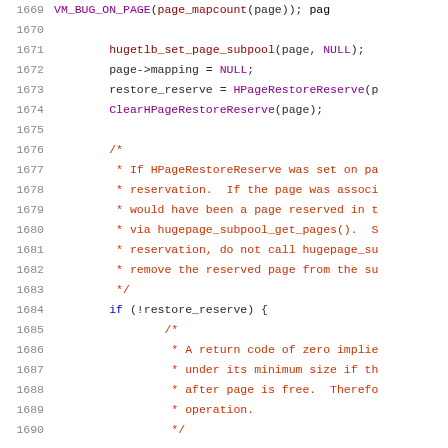Source code listing lines 1669-1690, C code for hugetlb page handling
1669: VM_BUG_ON_PAGE(page_mapcount(page)); page...
1670: (blank)
1671: hugetlb_set_page_subpool(page, NULL);
1672: page->mapping = NULL;
1673: restore_reserve = HPageRestoreReserve(p
1674: ClearHPageRestoreReserve(page);
1675: (blank)
1676: /*
1677:  * If HPageRestoreReserve was set on pa
1678:  * reservation.  If the page was associ
1679:  * would have been a page reserved in t
1680:  * via hugepage_subpool_get_pages().  S
1681:  * reservation, do not call hugepage_su
1682:  * remove the reserved page from the su
1683:  */
1684: if (!restore_reserve) {
1685:     /*
1686:      * A return code of zero implie
1687:      * under its minimum size if th
1688:      * after page is free.  Therefo
1689:      * operation.
1690:      */